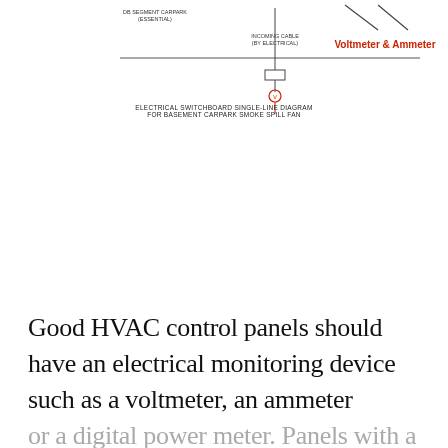[Figure (schematic): Electrical switchboard single-line diagram for basement carpark smoke spill fan. Shows incoming cable (by electrical) connection, a voltmeter and ammeter symbol highlighted in red/orange text, and a DB segment diagram (essential) label.]
ELECTRICAL SWITCHBOARD SINGLE-LINE DIAGRAM
FOR BASEMENT CARPARK SMOKE SPILL FAN
Good HVAC control panels should have an electrical monitoring device such as a voltmeter, an ammeter or a digital power meter. Panels with a monitoring device allow users can see the electrical load without